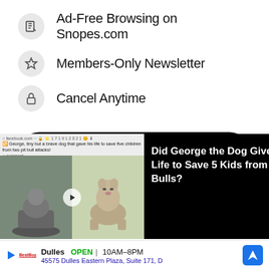Ad-Free Browsing on Snopes.com
Members-Only Newsletter
Cancel Anytime
$150.00 Once And Forever
$50.00 Per Year
[Figure (screenshot): Popup overlay showing George the Dog story with image of dog statue and live dog photo, text: Did George the Dog Give His Life to Save 5 Kids from 2 Pit Bulls?]
Did George the Dog Give His Life to Save 5 Kids from 2 Pit Bulls?
Dulles OPEN 10AM-8PM 45575 Dulles Eastern Plaza, Suite 171, D